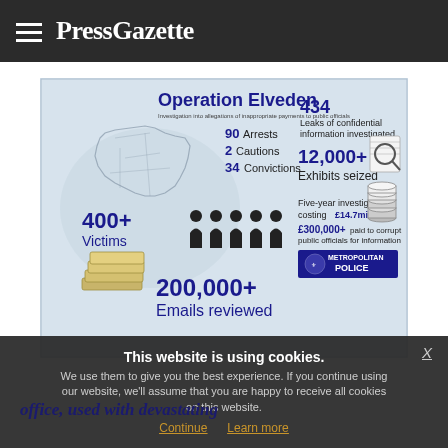PressGazette
[Figure (infographic): Operation Elveden infographic showing: 400+ Victims, 90 Arrests, 2 Cautions, 34 Convictions, 200,000+ Emails reviewed, 434 Leaks of confidential information investigated, 12,000+ Exhibits seized, Five-year investigation costing £14.7million, £300,000+ paid to corrupt public officials for information. Metropolitan Police logo.]
This website is using cookies. We use them to give you the best experience. If you continue using our website, we'll assume that you are happy to receive all cookies on this website.
Continue   Learn more
office, used with devastating